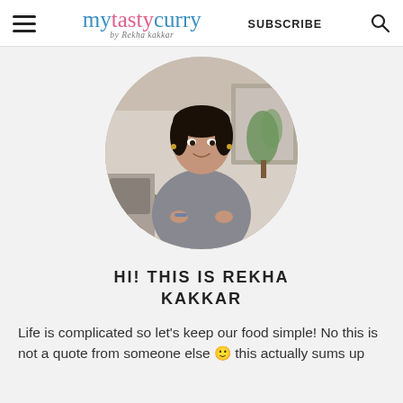mytastycurry by Rekha kakkar | SUBSCRIBE
[Figure (photo): Circular cropped photo of Rekha Kakkar standing in a kitchen, wearing a grey top, gesturing with her hands, with plants and kitchen equipment visible in the background.]
HI! THIS IS REKHA KAKKAR
Life is complicated so let's keep our food simple! No this is not a quote from someone else 🙂 this actually sums up